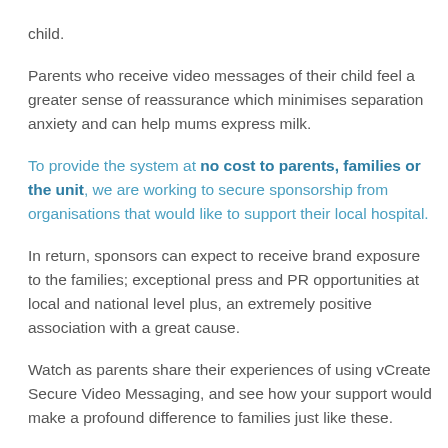child.
Parents who receive video messages of their child feel a greater sense of reassurance which minimises separation anxiety and can help mums express milk.
To provide the system at no cost to parents, families or the unit, we are working to secure sponsorship from organisations that would like to support their local hospital.
In return, sponsors can expect to receive brand exposure to the families; exceptional press and PR opportunities at local and national level plus, an extremely positive association with a great cause.
Watch as parents share their experiences of using vCreate Secure Video Messaging, and see how your support would make a profound difference to families just like these.